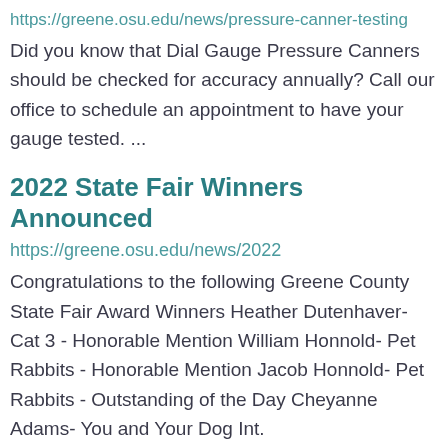https://greene.osu.edu/news/pressure-canner-testing
Did you know that Dial Gauge Pressure Canners should be checked for accuracy annually? Call our office to schedule an appointment to have your gauge tested. ...
2022 State Fair Winners Announced
https://greene.osu.edu/news/2022
Congratulations to the following Greene County State Fair Award Winners Heather Dutenhaver- Cat 3 - Honorable Mention William Honnold- Pet Rabbits - Honorable Mention Jacob Honnold- Pet Rabbits - Outstanding of the Day Cheyanne Adams- You and Your Dog Int.